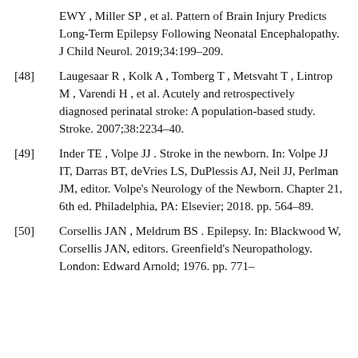EWY , Miller SP , et al. Pattern of Brain Injury Predicts Long-Term Epilepsy Following Neonatal Encephalopathy. J Child Neurol. 2019;34:199–209.
[48]  Laugesaar R , Kolk A , Tomberg T , Metsvaht T , Lintrop M , Varendi H , et al. Acutely and retrospectively diagnosed perinatal stroke: A population-based study. Stroke. 2007;38:2234–40.
[49]  Inder TE , Volpe JJ . Stroke in the newborn. In: Volpe JJ IT, Darras BT, deVries LS, DuPlessis AJ, Neil JJ, Perlman JM, editor. Volpe's Neurology of the Newborn. Chapter 21, 6th ed. Philadelphia, PA: Elsevier; 2018. pp. 564–89.
[50]  Corsellis JAN , Meldrum BS . Epilepsy. In: Blackwood W, Corsellis JAN, editors. Greenfield's Neuropathology. London: Edward Arnold; 1976. pp. 771–